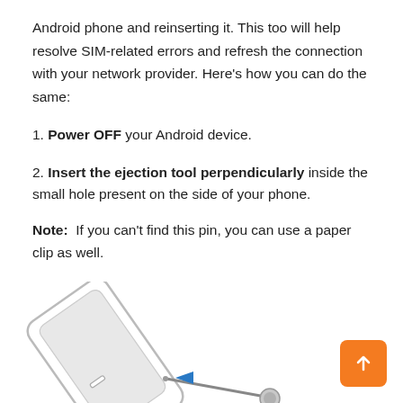Android phone and reinserting it. This too will help resolve SIM-related errors and refresh the connection with your network provider. Here’s how you can do the same:
1. Power OFF your Android device.
2. Insert the ejection tool perpendicularly inside the small hole present on the side of your phone.
Note: If you can’t find this pin, you can use a paper clip as well.
[Figure (illustration): Illustration of a SIM ejection tool (pin/paperclip) being inserted into the small hole on the side of a smartphone to eject the SIM tray. A blue arrow points to the hole.]